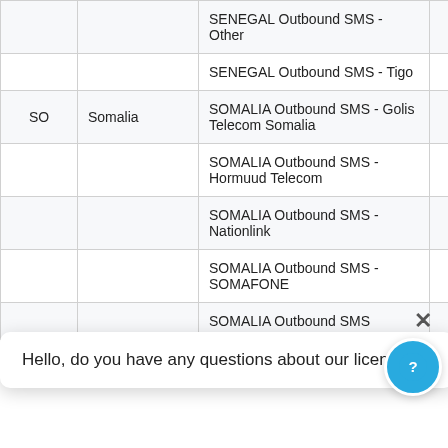| ISO | Country | Description | Price |
| --- | --- | --- | --- |
|  |  | SENEGAL Outbound SMS - Other | $0.06 |
|  |  | SENEGAL Outbound SMS - Tigo | $0.06 |
| SO | Somalia | SOMALIA Outbound SMS - Golis Telecom Somalia | $0.14 |
|  |  | SOMALIA Outbound SMS - Hormuud Telecom | $0.14 |
|  |  | SOMALIA Outbound SMS - Nationlink | $0.14 |
|  |  | SOMALIA Outbound SMS - SOMAFONE | $0.14 |
|  |  | SOMALIA Outbound SMS | $0.22 |
Hello, do you have any questions about our licenses?